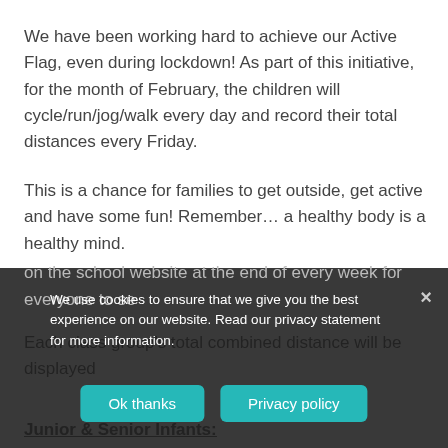We have been working hard to achieve our Active Flag, even during lockdown! As part of this initiative, for the month of February, the children will cycle/run/jog/walk every day and record their total distances every Friday.
This is a chance for families to get outside, get active and have some fun! Remember… a healthy body is a healthy mind.
Each class group's total combined distance will be displayed on the school website at the end of every week for everyone to se...
We use cookies to ensure that we give you the best experience on our website. Read our privacy statement for more information.
Junior & Senior Infants: